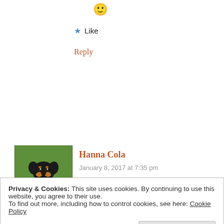[Figure (other): Smiley face emoji]
Like
Reply
[Figure (photo): Avatar photo of a Rottweiler puppy sitting on grass]
Hanna Cola
January 8, 2017 at 7:35 pm
Haha @sex sells..Ford aint doing too well...She would be better off selling Suppositories..I'm sure she can sell one to you as you are a bit tight...
Privacy & Cookies: This site uses cookies. By continuing to use this website, you agree to their use.
To find out more, including how to control cookies, see here: Cookie Policy
Close and accept